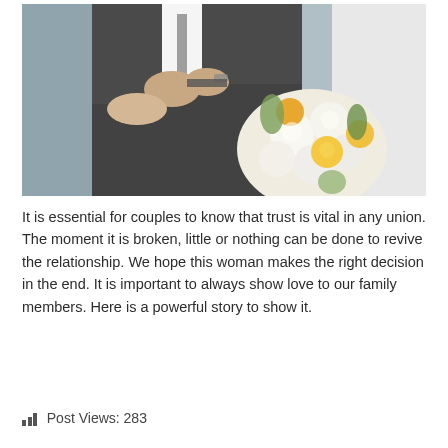[Figure (photo): Wedding photo showing a couple's torsos — the groom in a dark gray suit with the bride's arm linked through his, and the bride in a white dress holding a bouquet of white and yellow roses with greenery.]
It is essential for couples to know that trust is vital in any union. The moment it is broken, little or nothing can be done to revive the relationship. We hope this woman makes the right decision in the end. It is important to always show love to our family members. Here is a powerful story to show it.
Post Views: 283